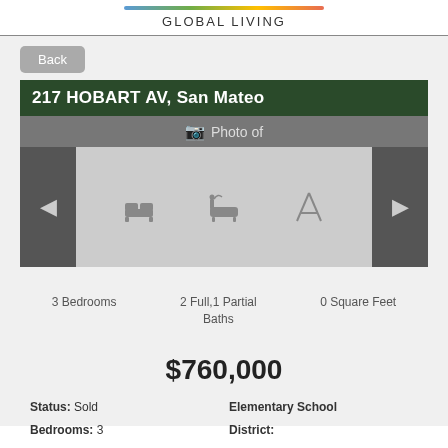GLOBAL LIVING
Back
217 HOBART AV, San Mateo
Photo of
3 Bedrooms   2 Full,1 Partial Baths   0 Square Feet
$760,000
Status: Sold
Bedrooms: 3
Bathrooms: 2 Full,1
Elementary School District:
High School District: